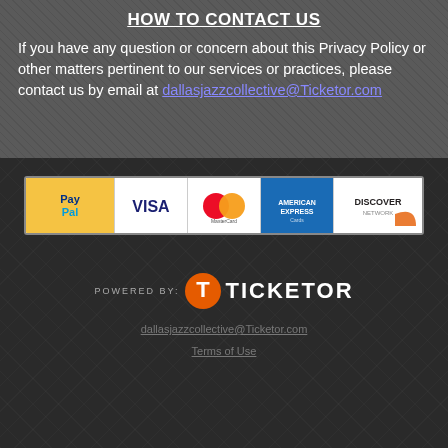HOW TO CONTACT US
If you have any question or concern about this Privacy Policy or other matters pertinent to our services or practices, please contact us by email at dallasjazzcollective@Ticketor.com
[Figure (logo): Payment methods strip showing PayPal, Visa, MasterCard, American Express, and Discover logos]
[Figure (logo): Powered by Ticketor logo with orange T icon and white TICKETOR text]
dallasjazzcollective@Ticketor.com
Terms of Use